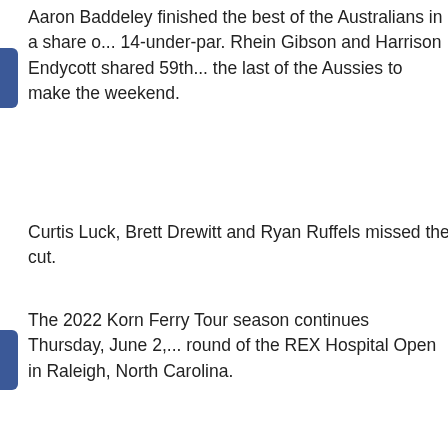Aaron Baddeley finished the best of the Australians in a share o... 14-under-par. Rhein Gibson and Harrison Endycott shared 59th... the last of the Aussies to make the weekend.
Curtis Luck, Brett Drewitt and Ryan Ruffels missed the cut.
The 2022 Korn Ferry Tour season continues Thursday, June 2,... round of the REX Hospital Open in Raleigh, North Carolina.
[Figure (screenshot): Tweet button and Facebook Like widget with count 0]
YOU MAY ALSO ENJOY
[Figure (photo): Three thumbnail photos of golf players/scenes]